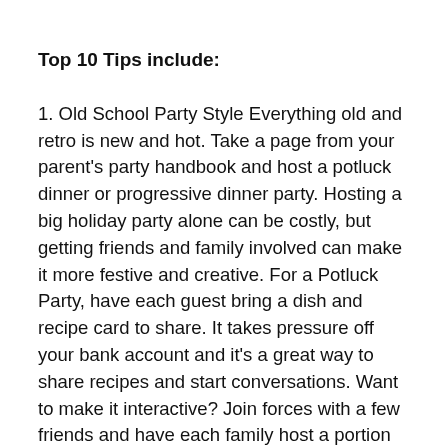Top 10 Tips include:
1. Old School Party Style Everything old and retro is new and hot. Take a page from your parent's party handbook and host a potluck dinner or progressive dinner party. Hosting a big holiday party alone can be costly, but getting friends and family involved can make it more festive and creative. For a Potluck Party, have each guest bring a dish and recipe card to share. It takes pressure off your bank account and it's a great way to share recipes and start conversations. Want to make it interactive? Join forces with a few friends and have each family host a portion of